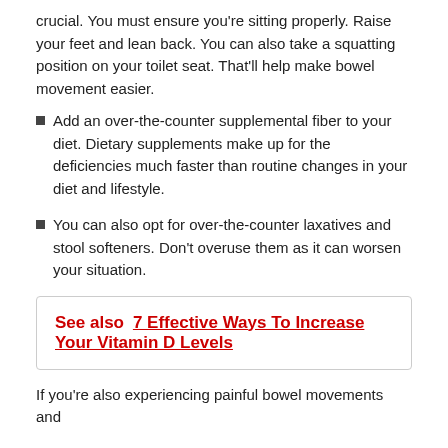crucial. You must ensure you're sitting properly. Raise your feet and lean back. You can also take a squatting position on your toilet seat. That'll help make bowel movement easier.
Add an over-the-counter supplemental fiber to your diet. Dietary supplements make up for the deficiencies much faster than routine changes in your diet and lifestyle.
You can also opt for over-the-counter laxatives and stool softeners. Don't overuse them as it can worsen your situation.
See also  7 Effective Ways To Increase Your Vitamin D Levels
If you're also experiencing painful bowel movements and